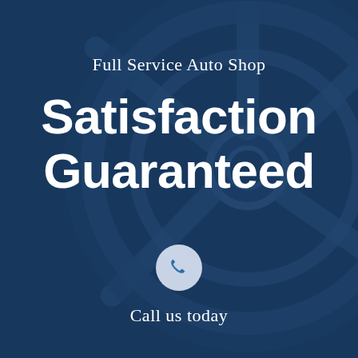[Figure (photo): Dark blue tinted background showing a car alloy wheel/rim close-up with spoke details, used as decorative background for an auto shop advertisement]
Full Service Auto Shop
Satisfaction Guaranteed
[Figure (illustration): A white/light grey circular button with a blue telephone/phone handset icon in the center]
Call us today